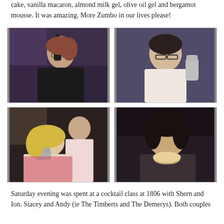cake, vanilla macaron, almond milk gel, olive oil gel and bergamot mousse. It was amazing. More Zumbo in our lives please!
[Figure (photo): Woman with glasses holding a dark bottle, wearing a black patterned top, indoors]
[Figure (photo): Man with glasses holding a silver cocktail shaker to his cheek, wearing a light pink shirt]
[Figure (photo): Two people at a bar, woman with blonde hair holding a silver cocktail shaker, man in pink shirt behind her]
[Figure (photo): Asian woman smiling and holding a cocktail glass with a creamy drink]
Saturday evening was spent at a cocktail class at 1806 with Shern and Ion. Stacey and Andy (ie The Timberts and The Demerys). Both couples